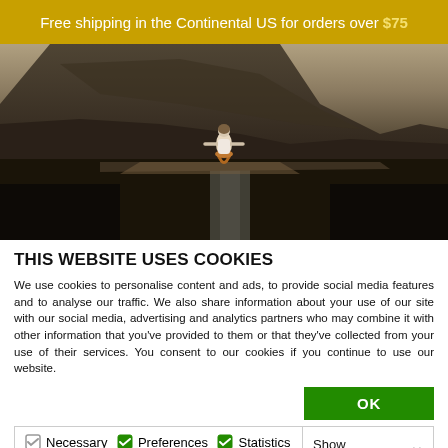Free shipping in the Continental US for orders over $75
[Figure (photo): Woman in white top and orange skirt standing on rocky terrain with arms outstretched, dramatic dark mountain landscape behind her]
THIS WEBSITE USES COOKIES
We use cookies to personalise content and ads, to provide social media features and to analyse our traffic. We also share information about your use of our site with our social media, advertising and analytics partners who may combine it with other information that you've provided to them or that they've collected from your use of their services. You consent to our cookies if you continue to use our website.
OK
Necessary  Preferences  Statistics  Marketing  Show details